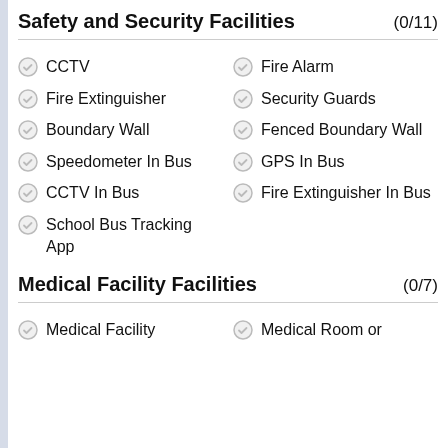Safety and Security Facilities (0/11)
CCTV
Fire Alarm
Fire Extinguisher
Security Guards
Boundary Wall
Fenced Boundary Wall
Speedometer In Bus
GPS In Bus
CCTV In Bus
Fire Extinguisher In Bus
School Bus Tracking App
Medical Facility Facilities (0/7)
Medical Facility
Medical Room or